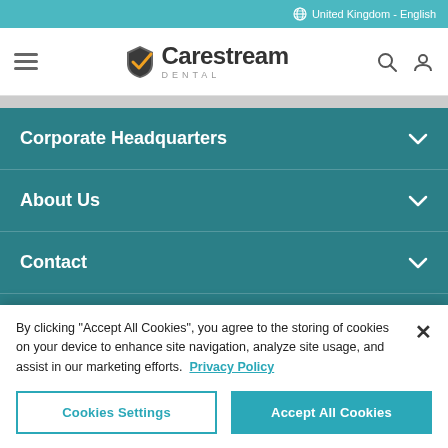United Kingdom - English
[Figure (logo): Carestream Dental logo with shield icon and text]
Corporate Headquarters
About Us
Contact
Quick Links
By clicking "Accept All Cookies", you agree to the storing of cookies on your device to enhance site navigation, analyze site usage, and assist in our marketing efforts. Privacy Policy
Cookies Settings | Accept All Cookies